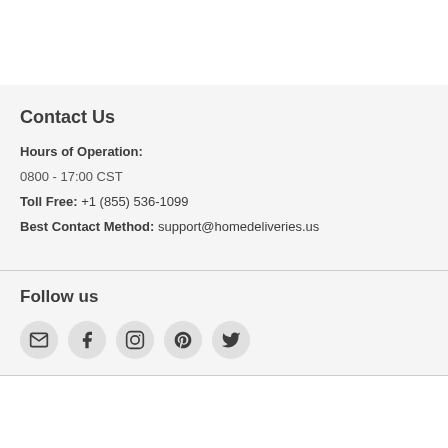Contact Us
Hours of Operation:
0800 - 17:00 CST
Toll Free: +1 (855) 536-1099
Best Contact Method: support@homedeliveries.us
Follow us
[Figure (other): Row of five social media icon buttons: email, Facebook, Instagram, Pinterest, Twitter]